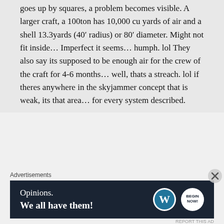goes up by squares, a problem becomes visible. A larger craft, a 100ton has 10,000 cu yards of air and a shell 13.3yards (40' radius) or 80' diameter. Might not fit inside… Imperfect it seems… humph. lol They also say its supposed to be enough air for the crew of the craft for 4-6 months… well, thats a streach. lol if theres anywhere in the skyjammer concept that is weak, its that area… for every system described.
Advertisements
[Figure (other): Advertisement banner with dark navy background. Text reads 'Opinions. We all have them!' with WordPress logo and another circular logo on the right.]